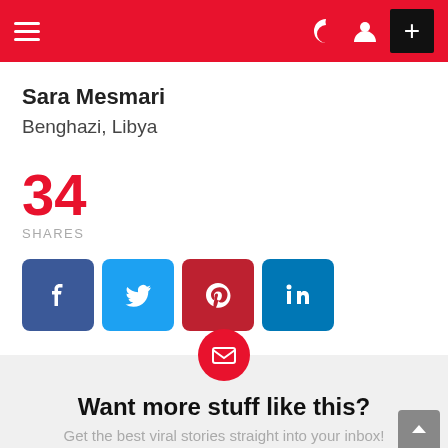Navigation bar with hamburger menu, moon/profile icons, and plus button
Sara Mesmari
Benghazi, Libya
34 SHARES
[Figure (infographic): Social share buttons: Facebook (blue), Twitter (light blue), Pinterest (dark red), LinkedIn (teal-blue)]
[Figure (infographic): Newsletter signup box with red envelope icon circle, heading 'Want more stuff like this?' and subtext 'Get the best viral stories straight into your inbox!']